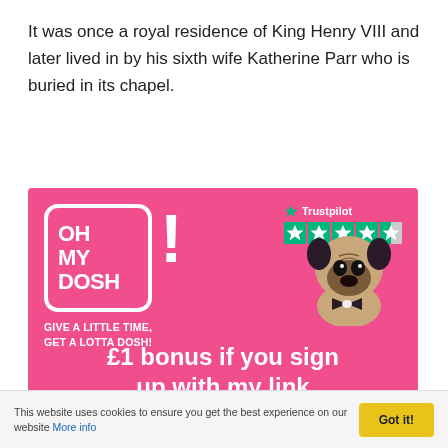It was once a royal residence of King Henry VIII and later lived in by his sixth wife Katherine Parr who is buried in its chapel.
[Figure (infographic): Oh My Dosh advertisement banner on pink background. Logo with 'OH MY DOSH!' text in white rounded box, Trustpilot 4.5 star rating, pug dog in bow tie photo, tagline 'GIVE A LITTLE TIME, GET A LOTTA DOSH!', and large text '£1 bonus if you sign up with my link']
This website uses cookies to ensure you get the best experience on our website More info  Got it!